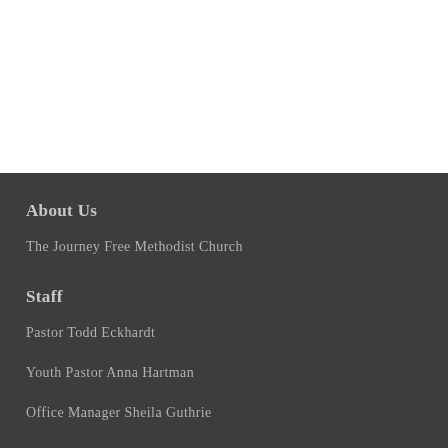About Us
The Journey Free Methodist Church
Staff
Pastor Todd Eckhardt
Youth Pastor Anna Hartman
Office Manager Sheila Guthrie